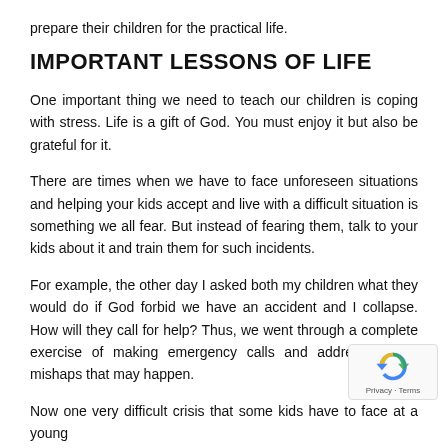prepare their children for the practical life.
IMPORTANT LESSONS OF LIFE
One important thing we need to teach our children is coping with stress. Life is a gift of God. You must enjoy it but also be grateful for it.
There are times when we have to face unforeseen situations and helping your kids accept and live with a difficult situation is something we all fear. But instead of fearing them, talk to your kids about it and train them for such incidents.
For example, the other day I asked both my children what they would do if God forbid we have an accident and I collapse. How will they call for help? Thus, we went through a complete exercise of making emergency calls and addressing any mishaps that may happen.
Now one very difficult crisis that some kids have to face at a young